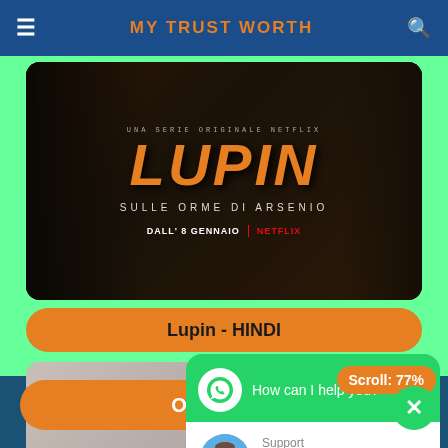MY TRUST WORTH
[Figure (photo): Lupin Netflix series promotional image: LUPIN SULLE ORME DI ARSENIO, DALL'8 GENNAIO | NETFLIX]
Lupin - HINDI
[Figure (photo): Netflix promotional image with masked figures in pink/red costumes]
[Figure (screenshot): WhatsApp chat widget with message 'How can I help you?', support agent mytrustworth shown as Online. Scroll: 77% badge visible.]
'My Trust Worth' uses c... experience on our websi...
Okay!